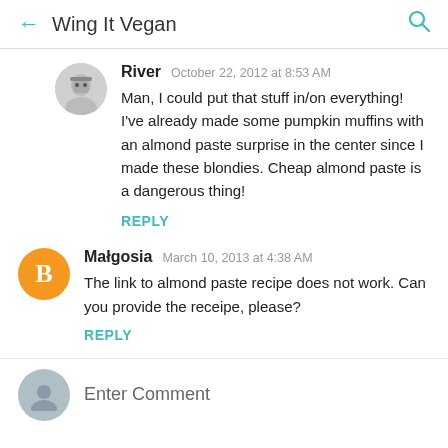Wing It Vegan
River  October 22, 2012 at 8:53 AM
Man, I could put that stuff in/on everything! I've already made some pumpkin muffins with an almond paste surprise in the center since I made these blondies. Cheap almond paste is a dangerous thing!
REPLY
Małgosia  March 10, 2013 at 4:38 AM
The link to almond paste recipe does not work. Can you provide the receipe, please?
REPLY
Enter Comment